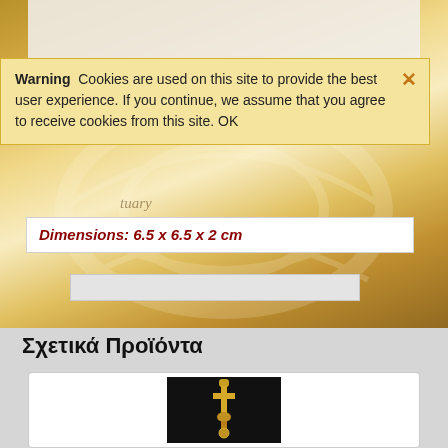[Figure (photo): Background ornate golden decorative texture with carved/embossed pattern visible behind page content]
Warning  Cookies are used on this site to provide the best user experience. If you continue, we assume that you agree to receive cookies from this site. OK
Dimensions: 6.5 x 6.5 x 2 cm
[Figure (photo): Small input/search box area]
Σχετικά Προϊόντα
[Figure (photo): Product card showing a gold jewelry pendant/cross on black background]